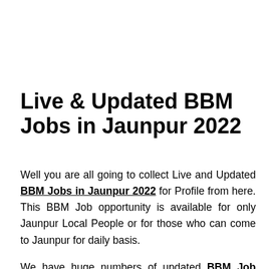Live & Updated BBM Jobs in Jaunpur 2022
Well you are all going to collect Live and Updated BBM Jobs in Jaunpur 2022 for Profile from here. This BBM Job opportunity is available for only Jaunpur Local People or for those who can come to Jaunpur for daily basis.
We have huge numbers of updated BBM Job Vacancy in Jaunpur 2022 list available on below of BBM Based Job in Jaunpur page. Mostly BBM